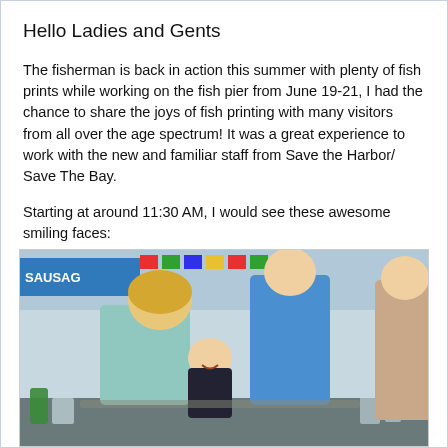Hello Ladies and Gents
The fisherman is back in action this summer with plenty of fish prints while working on the fish pier from June 19-21, I had the chance to share the joys of fish printing with many visitors from all over the age spectrum! It was a great experience to work with the new and familiar staff from Save the Harbor/ Save The Bay.
Starting at around 11:30 AM, I would see these awesome smiling faces:
[Figure (photo): Photo of people at a fish pier activity event. A blonde woman leans over a smiling toddler in a black shirt at a table. A man in a blue polo shirt stands behind them. Another person is partially visible on the right. A sign reading 'SAUSAGE' is visible in the background along with colorful decorations.]